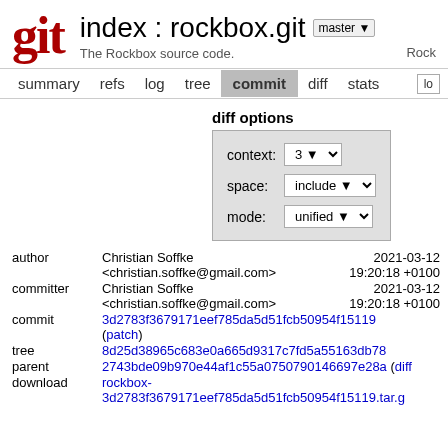git  index : rockbox.git  master  The Rockbox source code.  Rock
summary  refs  log  tree  commit  diff  stats  log
diff options
context: 3
space: include
mode: unified
author  Christian Soffke <christian.soffke@gmail.com>  2021-03-12 19:20:18 +0100
committer  Christian Soffke <christian.soffke@gmail.com>  2021-03-12 19:20:18 +0100
commit  3d2783f3679171eef785da5d51fcb50954f15119 (patch)
tree  8d25d38965c683e0a665d9317c7fd5a55163db78
parent  2743bde09b970e44af1c55a0750790146697e28a (diff)
download  rockbox-3d2783f3679171eef785da5d51fcb50954f15119.tar.gz